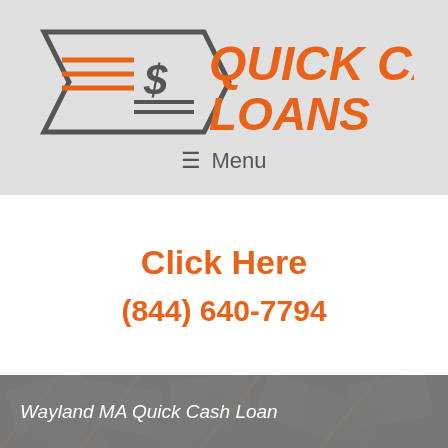[Figure (logo): Quick Cash Loans logo with a stylized arrow/chevron shape in dark gray containing horizontal lines and a dollar sign, with orange italic text QUICK CASH LOANS]
≡ Menu
Click Here
(844) 640-7794
[Figure (photo): Background photo of a pile of US $100 dollar bills spread out, displayed with a dark gray overlay tint and orange diagonal stripe accents]
Wayland MA Quick Cash Loan